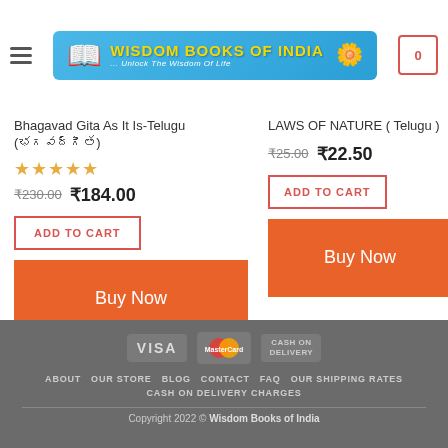[Figure (logo): Wisdom Books of India logo banner with book icon, yellow text, and flower]
Bhagavad Gita As It Is-Telugu (భగవద్గీత)
★★★★★
₹230.00  ₹184.00
ADD TO CART
Buy Now
LAWS OF NATURE ( Telugu )
₹25.00  ₹22.50
ADD TO CART
Buy Now
[Figure (infographic): Payment icons: VISA, MasterCard, Cash on Delivery]
ABOUT  OUR STORE  BLOG  CONTACT  FAQ  OUR SHIPPING RATES  CASH ON DELIVERY CHARGES
Copyright 2022 © Wisdom Books of India